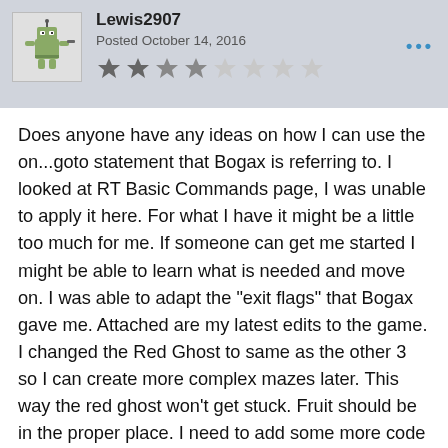Lewis2907
Posted October 14, 2016
Does anyone have any ideas on how I can use the on...goto statement that Bogax is referring to. I looked at RT Basic Commands page, I was unable to apply it here. For what I have it might be a little too much for me. If someone can get me started I might be able to learn what is needed and move on. I was able to adapt the "exit flags" that Bogax gave me. Attached are my latest edits to the game. I changed the Red Ghost to same as the other 3 so I can create more complex mazes later. This way the red ghost won't get stuck. Fruit should be in the proper place. I need to add some more code as it tends to get stuck in the playfield every once in a while. You should be able to complete the game. When changing rooms the scanlines go up. Hopefully I can work that issue out. I have a few